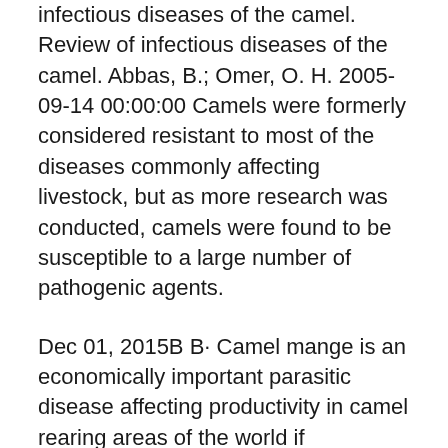infectious diseases of the camel. Review of infectious diseases of the camel. Abbas, B.; Omer, O. H. 2005-09-14 00:00:00 Camels were formerly considered resistant to most of the diseases commonly affecting livestock, but as more research was conducted, camels were found to be susceptible to a large number of pathogenic agents.
Dec 01, 2015B B· Camel mange is an economically important parasitic disease affecting productivity in camel rearing areas of the world if appropriate treatment is not instituted. A cross-sectional and a controlled field trial were carried out to study the epidemiology of camel mange in Fafan zone, Eastern Ethiopia, and evaluate the efficacy of